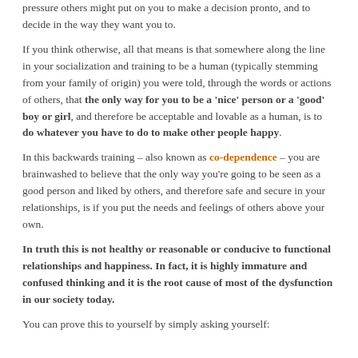pressure others might put on you to make a decision pronto, and to decide in the way they want you to.
If you think otherwise, all that means is that somewhere along the line in your socialization and training to be a human (typically stemming from your family of origin) you were told, through the words or actions of others, that the only way for you to be a 'nice' person or a 'good' boy or girl, and therefore be acceptable and lovable as a human, is to do whatever you have to do to make other people happy.
In this backwards training – also known as co-dependence – you are brainwashed to believe that the only way you're going to be seen as a good person and liked by others, and therefore safe and secure in your relationships, is if you put the needs and feelings of others above your own.
In truth this is not healthy or reasonable or conducive to functional relationships and happiness. In fact, it is highly immature and confused thinking and it is the root cause of most of the dysfunction in our society today.
You can prove this to yourself by simply asking yourself: